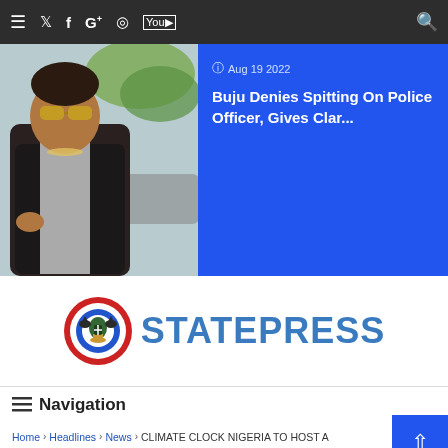Navigation bar with menu, social icons (Twitter, Facebook, Google+, Instagram, YouTube), and search
[Figure (photo): Photo of a man with sunglasses and jewelry outdoors with palm trees in background]
Aug 19 2022
Buju Denies Spitting On Police Officer, Gives Clar...
[Figure (logo): StatePress logo with Nigerian coat of arms emblem and bold blue STATEPRESS text]
≡ Navigation
Home › Headlines › News › CLIMATE CLOCK NIGERIA TO HOST A WEBINAR ON CLIMATE CHANGE & THE ROLE OF WOMEN